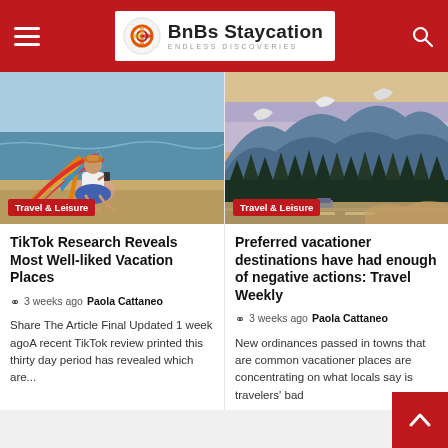BnBs Staycation — ENDLESS DISCOVERIES
[Figure (photo): Woman sitting on a colorful beach chair on the beach, looking at her phone. Tag: Travel & Leisure]
[Figure (photo): Mountain landscape with snow-capped peaks, road, and pine forest. Tag: Travel & Leisure]
TikTok Research Reveals Most Well-liked Vacation Places
3 weeks ago  Paola Cattaneo
Share The Article Final Updated 1 week agoA recent TikTok review printed this thirty day period has revealed which are...
Preferred vacationer destinations have had enough of negative actions: Travel Weekly
3 weeks ago  Paola Cattaneo
New ordinances passed in towns that are common vacationer places are concentrating on what locals say is travelers' bad